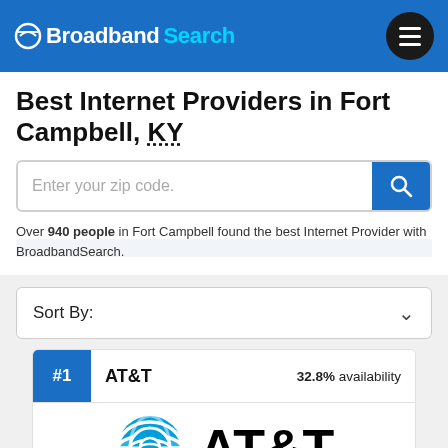Broadband Search
Best Internet Providers in Fort Campbell, KY
Enter your zip code.
Over 940 people in Fort Campbell found the best Internet Provider with BroadbandSearch.
Sort By:
#1  AT&T  32.8% availability
[Figure (logo): AT&T logo with blue globe icon and AT&T text in black bold lettering]